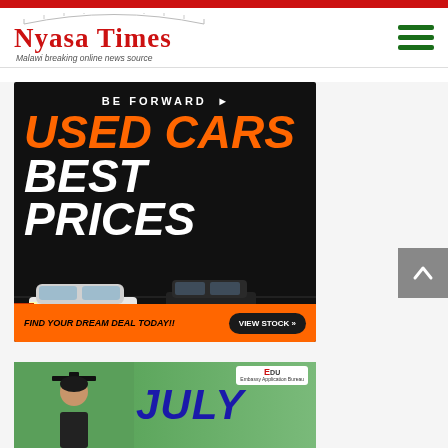Nyasa Times – Malawi breaking online news source
[Figure (infographic): BE FORWARD advertisement: Used Cars Best Prices – Find Your Dream Deal Today!! View Stock »]
[Figure (infographic): Education advertisement partially visible at bottom showing JULY text and a graduate student photo]